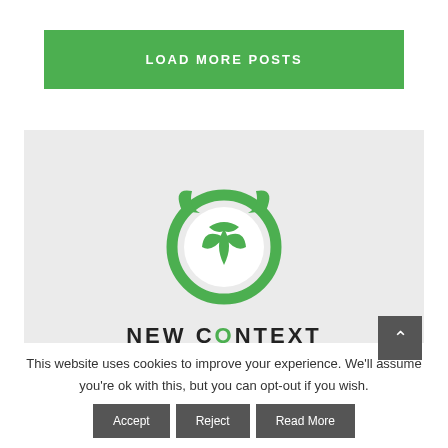LOAD MORE POSTS
[Figure (logo): New Context logo: green circular owl/leaf emblem with the text NEW CONTEXT below it on a light grey background]
This website uses cookies to improve your experience. We'll assume you're ok with this, but you can opt-out if you wish.
Accept
Reject
Read More